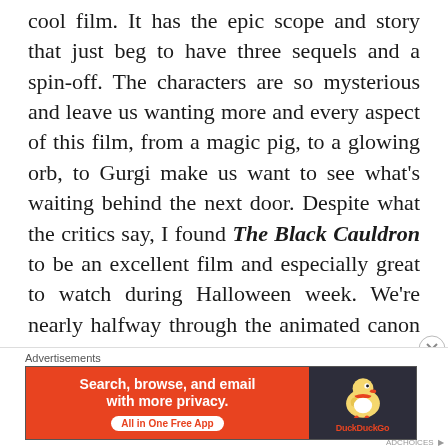cool film. It has the epic scope and story that just beg to have three sequels and a spin-off. The characters are so mysterious and leave us wanting more and every aspect of this film, from a magic pig, to a glowing orb, to Gurgi make us want to see what's waiting behind the next door. Despite what the critics say, I found The Black Cauldron to be an excellent film and especially great to watch during Halloween week. We're nearly halfway through the animated canon and from what I can tell, they just keep getting better and better. What will we uncover next? One can only hope it has more Munchies and Crunchies than the one that
Advertisements
[Figure (other): DuckDuckGo advertisement banner: orange background on left with text 'Search, browse, and email with more privacy.' and 'All in One Free App' button; dark right panel with DuckDuckGo duck logo and brand name.]